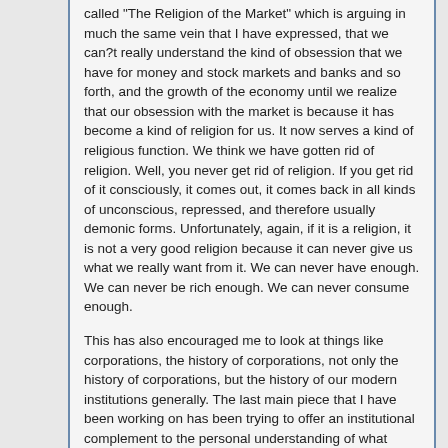called "The Religion of the Market" which is arguing in much the same vein that I have expressed, that we can?t really understand the kind of obsession that we have for money and stock markets and banks and so forth, and the growth of the economy until we realize that our obsession with the market is because it has become a kind of religion for us. It now serves a kind of religious function. We think we have gotten rid of religion. Well, you never get rid of religion. If you get rid of it consciously, it comes out, it comes back in all kinds of unconscious, repressed, and therefore usually demonic forms. Unfortunately, again, if it is a religion, it is not a very good religion because it can never give us what we really want from it. We can never have enough. We can never be rich enough. We can never consume enough.
This has also encouraged me to look at things like corporations, the history of corporations, not only the history of corporations, but the history of our modern institutions generally. The last main piece that I have been working on has been trying to offer an institutional complement to the personal understanding of what happened in the Renaissance. There I could see pretty clearly how our present preoccupations with fame, romantic love, and money began, but you can also look at the evolution of our institutions, not only